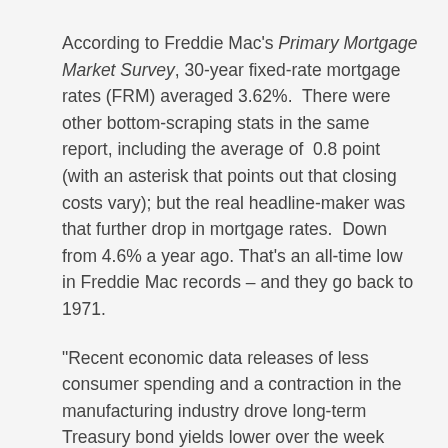According to Freddie Mac's Primary Mortgage Market Survey, 30-year fixed-rate mortgage rates (FRM) averaged 3.62%.  There were other bottom-scraping stats in the same report, including the average of  0.8 point (with an asterisk that points out that closing costs vary); but the real headline-maker was that further drop in mortgage rates.  Down from 4.6% a year ago. That's an all-time low in Freddie Mac records – and they go back to 1971.
"Recent economic data releases of less consumer spending and a contraction in the manufacturing industry drove long-term Treasury bond yields lower over the week and allowed fixed mortgage rates to hit new all-time record lows," said Freddie Mac chief economist Frank...